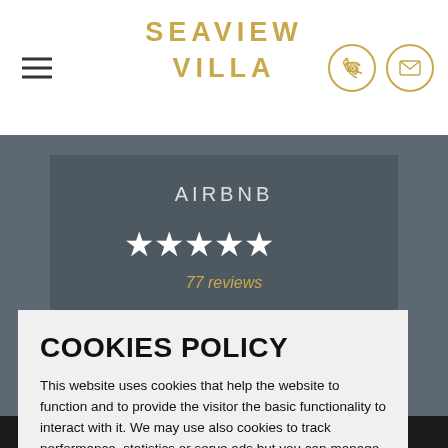SEAVIEW VILLA
AIRBNB
[Figure (other): Five white star rating icons on dark grey background]
reviews
COOKIES POLICY
This website uses cookies that help the website to function and to provide the visitor the basic functionality to interact with it. We may use also cookies to track performance, statistics or serve ads but you can manage what functionality is enabled by clicking on the Preferences.
Preferences   Accept